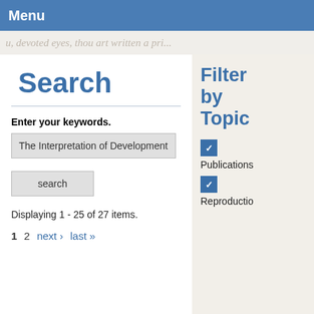Menu
[Figure (illustration): Handwritten script text strip as decorative background]
Search
Enter your keywords.
The Interpretation of Development
search
Displaying 1 - 25 of 27 items.
1  2  next ›  last »
Filter by Topic
Publications
Reproductio